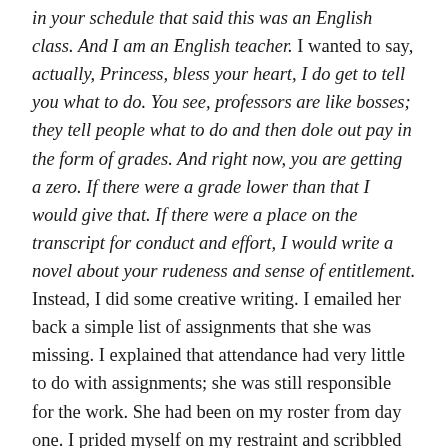in your schedule that said this was an English class. And I am an English teacher. I wanted to say, actually, Princess, bless your heart, I do get to tell you what to do. You see, professors are like bosses; they tell people what to do and then dole out pay in the form of grades. And right now, you are getting a zero. If there were a grade lower than that I would give that. If there were a place on the transcript for conduct and effort, I would write a novel about your rudeness and sense of entitlement. Instead, I did some creative writing. I emailed her back a simple list of assignments that she was missing. I explained that attendance had very little to do with assignments; she was still responsible for the work. She had been on my roster from day one. I prided myself on my restraint and scribbled more notes.